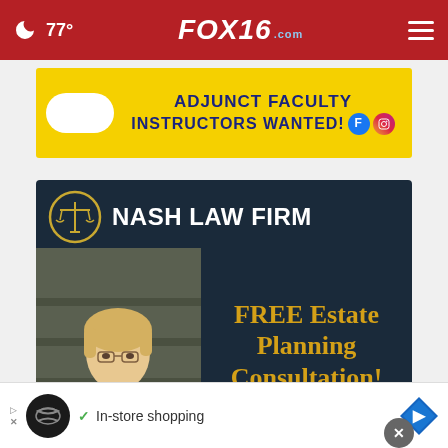77° FOX16.com
[Figure (advertisement): Yellow banner ad: ADJUNCT FACULTY INSTRUCTORS WANTED! with Facebook and Instagram icons and a white pill/oval shape on the left]
[Figure (advertisement): Nash Law Firm dark navy ad with scales of justice logo, text: NASH LAW FIRM, FREE Estate Planning Consultation!, photo of woman with dog]
[Figure (advertisement): Bottom banner ad: In-store shopping with circular logo and navigation arrow icon]